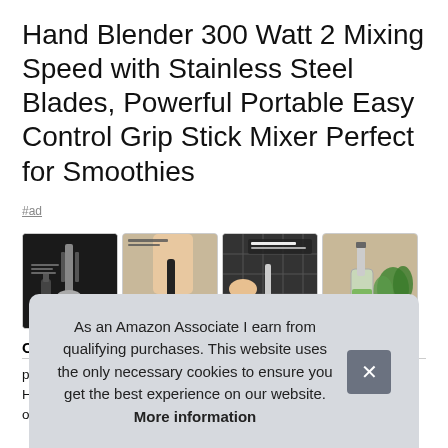Hand Blender 300 Watt 2 Mixing Speed with Stainless Steel Blades, Powerful Portable Easy Control Grip Stick Mixer Perfect for Smoothies
#ad
[Figure (photo): Four product images of a hand blender showing different features: dark background with blender, non-slip handle with person using blender, easy-to-clean blades, and versatile use with vegetables.]
OVE
puls
High
one touch! Sleek & ergonomic – it's built with a sleek
As an Amazon Associate I earn from qualifying purchases. This website uses the only necessary cookies to ensure you get the best experience on our website. More information